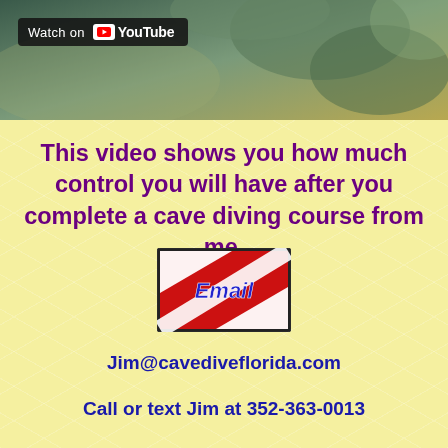[Figure (screenshot): YouTube video thumbnail showing cave diving underwater scene with a 'Watch on YouTube' overlay bar in the top-left corner]
This video shows you how much control you will have after you complete a cave diving course from me.
[Figure (logo): Email button graphic styled as a scuba diving flag (red with white diagonal stripe) with the word 'Email' written in blue italic script]
Jim@cavediveflorida.com
Call or text Jim at 352-363-0013